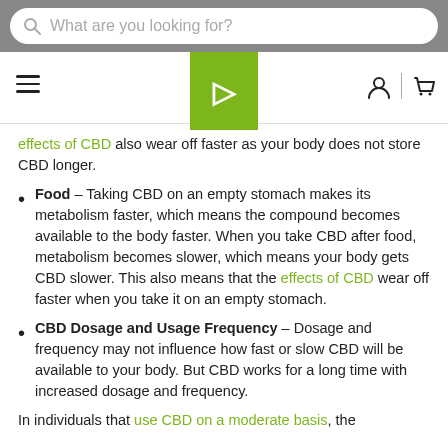What are you looking for?
[Figure (logo): Navigation bar with hamburger menu, green D logo, user and cart icons]
effects of CBD also wear off faster as your body does not store CBD longer.
Food – Taking CBD on an empty stomach makes its metabolism faster, which means the compound becomes available to the body faster. When you take CBD after food, metabolism becomes slower, which means your body gets CBD slower. This also means that the effects of CBD wear off faster when you take it on an empty stomach.
CBD Dosage and Usage Frequency – Dosage and frequency may not influence how fast or slow CBD will be available to your body. But CBD works for a long time with increased dosage and frequency.
In individuals that use CBD on a moderate basis, the